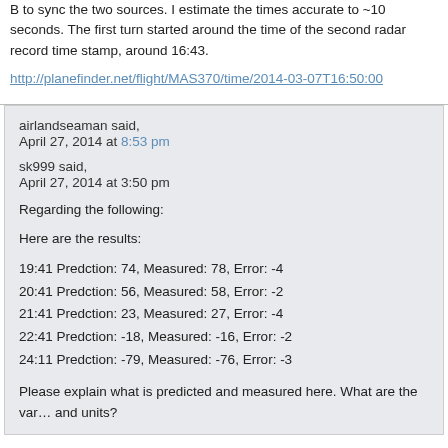B to sync the two sources. I estimate the times accurate to ~10 seconds. The first turn started around the time of the second radar record time stamp, around 16:43.
http://planefinder.net/flight/MAS370/time/2014-03-07T16:50:00
airlandseaman said,
April 27, 2014 at 8:53 pm
sk999 said,
April 27, 2014 at 3:50 pm
Regarding the following:
Here are the results:
19:41 Predction: 74, Measured: 78, Error: -4
20:41 Predction: 56, Measured: 58, Error: -2
21:41 Predction: 23, Measured: 27, Error: -4
22:41 Predction: -18, Measured: -16, Error: -2
24:11 Predction: -79, Measured: -76, Error: -3
Please explain what is predicted and measured here. What are the variables and units?